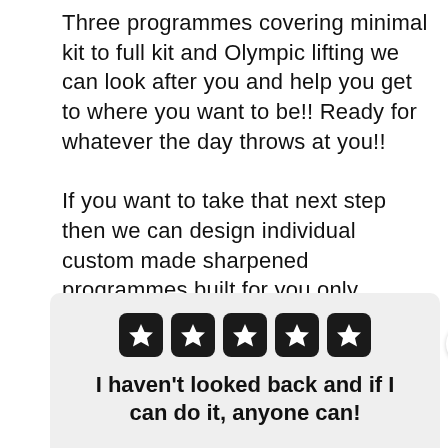Three programmes covering minimal kit to full kit and Olympic lifting we can look after you and help you get to where you want to be!! Ready for whatever the day throws at you!!

If you want to take that next step then we can design individual custom made sharpened programmes built for you only.
[Figure (other): Five-star rating display with five white stars on black rounded square backgrounds]
I haven't looked back and if I can do it, anyone can!